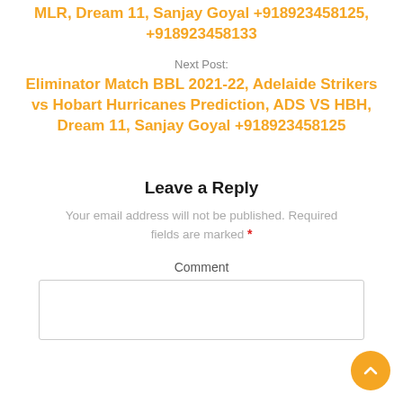MLR, Dream 11, Sanjay Goyal +918923458125, +918923458133
Next Post:
Eliminator Match BBL 2021-22, Adelaide Strikers vs Hobart Hurricanes Prediction, ADS VS HBH, Dream 11, Sanjay Goyal +918923458125
Leave a Reply
Your email address will not be published. Required fields are marked *
Comment